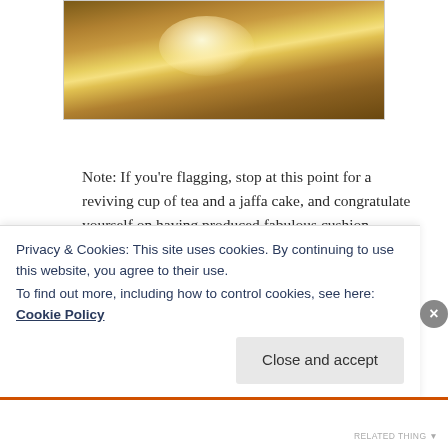[Figure (photo): Photo of a wooden floor/surface with a glare of light reflecting off it, shown in a bordered frame at the top of the page.]
Note: If you're flagging, stop at this point for a reviving cup of tea and a jaffa cake, and congratulate yourself on having produced fabulous cushion corners.
Now it's time to look at the zip.
Privacy & Cookies: This site uses cookies. By continuing to use this website, you agree to their use.
To find out more, including how to control cookies, see here: Cookie Policy
Close and accept